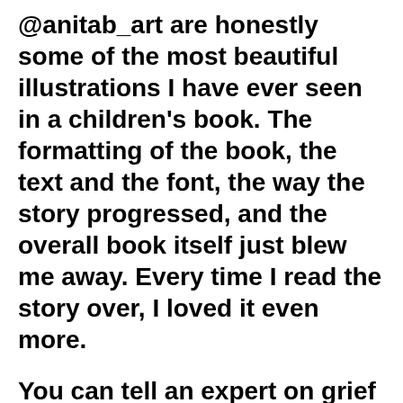@anitab_art are honestly some of the most beautiful illustrations I have ever seen in a children's book. The formatting of the book, the text and the font, the way the story progressed, and the overall book itself just blew me away. Every time I read the story over, I loved it even more.
You can tell an expert on grief and loss wrote the story, and it is well-written in terms of the picture book industry as well. It acknowledges the pain of losing someone special and how hard it is to move on without them, but the book still